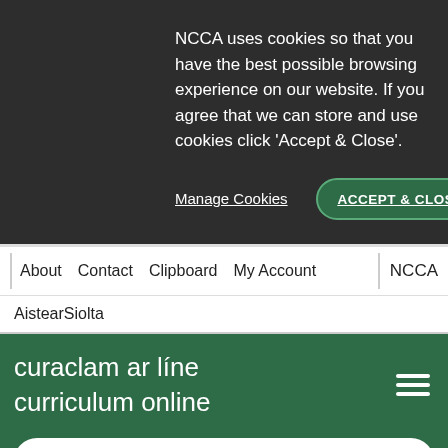NCCA uses cookies so that you have the best possible browsing experience on our website. If you agree that we can store and use cookies click 'Accept & Close'.
Manage Cookies
ACCEPT & CLOSE
About   Contact   Clipboard   My Account   |   NCCA
AistearSiolta
curaclam ar líne
curriculum online
Search Curriculum Online
Share